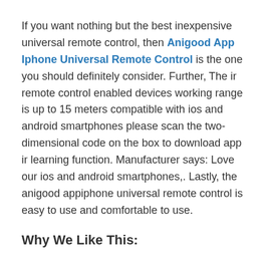If you want nothing but the best inexpensive universal remote control, then Anigood App Iphone Universal Remote Control is the one you should definitely consider. Further, The ir remote control enabled devices working range is up to 15 meters compatible with ios and android smartphones please scan the two-dimensional code on the box to download app ir learning function. Manufacturer says: Love our ios and android smartphones,. Lastly, the anigood appiphone universal remote control is easy to use and comfortable to use.
Why We Like This: